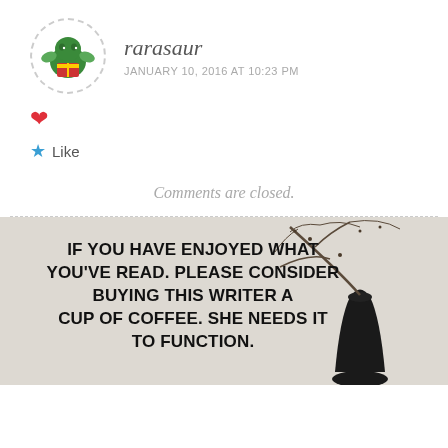rarasaur
JANUARY 10, 2016 AT 10:23 PM
❤
★ Like
Comments are closed.
[Figure (photo): Promotional image with text over light background: 'IF YOU HAVE ENJOYED WHAT YOU'VE READ. PLEASE CONSIDER BUYING THIS WRITER A CUP OF COFFEE. SHE NEEDS IT TO FUNCTION.' with a black vase containing bare tree branches on the right side.]